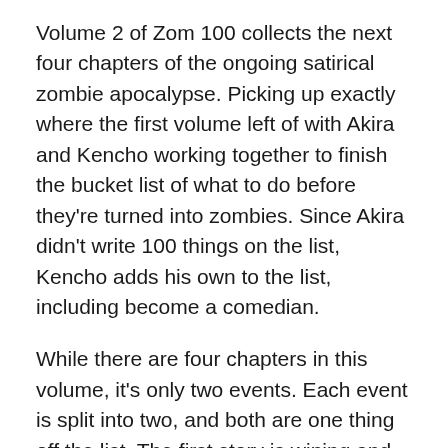Volume 2 of Zom 100 collects the next four chapters of the ongoing satirical zombie apocalypse. Picking up exactly where the first volume left of with Akira and Kencho working together to finish the bucket list of what to do before they're turned into zombies. Since Akira didn't write 100 things on the list, Kencho adds his own to the list, including become a comedian.
While there are four chapters in this volume, it's only two events. Each event is split into two, and both are one thing off the list. The first story is wining and dining an air stewardess, that happens accidentally when Akira and Kencho are out looking for a widescreen TV. It's still silly and over the top, but there is something almost poignant when Akira is talking to the stewardess about his dreams and what he wanted to be when growing up.